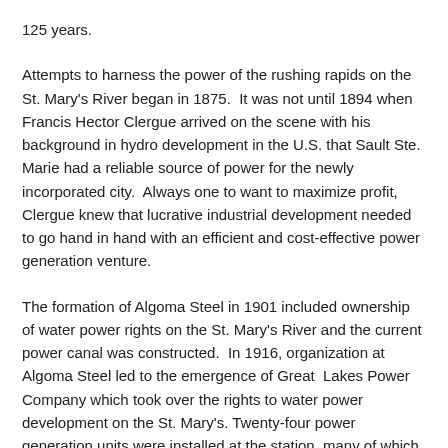125 years.
Attempts to harness the power of the rushing rapids on the St. Mary's River began in 1875.  It was not until 1894 when Francis Hector Clergue arrived on the scene with his background in hydro development in the U.S. that Sault Ste. Marie had a reliable source of power for the newly incorporated city.  Always one to want to maximize profit, Clergue knew that lucrative industrial development needed to go hand in hand with an efficient and cost-effective power generation venture.
The formation of Algoma Steel in 1901 included ownership of water power rights on the St. Mary's River and the current power canal was constructed.  In 1916, organization at Algoma Steel led to the emergence of Great Lakes Power Company which took over the rights to water power development on the St. Mary's. Twenty-four power generation units were installed at the station, many of which were still being utilized prior to the plants replacement by the F.H.Clergue Generating Station in 1981.